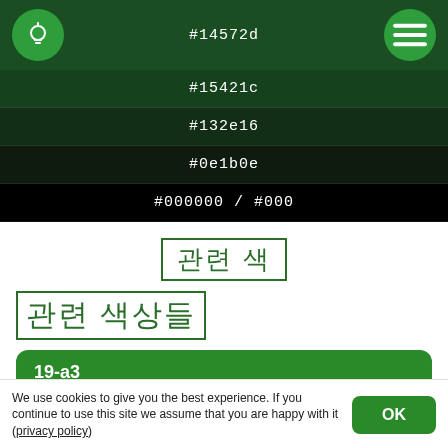[Figure (screenshot): Color palette app screenshot showing dark green color swatches with hex codes #15421c, #132e16, #0e1b0e, #000000/#000, with a light bulb icon and menu icon in the top bar.]
관련 색
관련 색상들
19-a3
TRUMATCH
We use cookies to give you the best experience. If you continue to use this site we assume that you are happy with it (privacy policy)